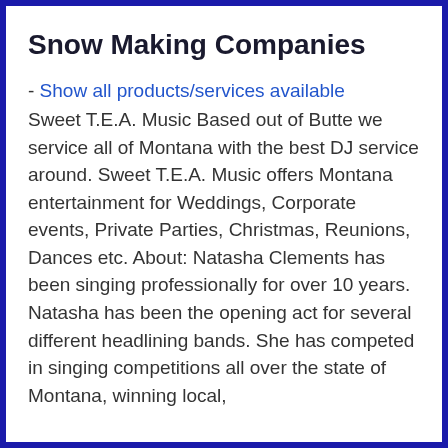Snow Making Companies
- Show all products/services available
Sweet T.E.A. Music Based out of Butte we service all of Montana with the best DJ service around. Sweet T.E.A. Music offers Montana entertainment for Weddings, Corporate events, Private Parties, Christmas, Reunions, Dances etc. About: Natasha Clements has been singing professionally for over 10 years. Natasha has been the opening act for several different headlining bands. She has competed in singing competitions all over the state of Montana, winning local,